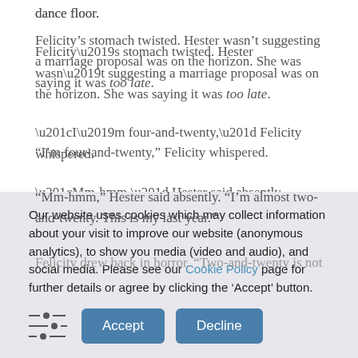dance floor.
Felicity’s stomach twisted. Hester wasn’t suggesting a marriage proposal was on the horizon. She was saying it was too late.
“I’m four-and-twenty,” Felicity whispered.
“Mm-hmm,” Hester said absently. “I’m almost two-and-twenty. This is my last year.”
Felicity drew back in horror. “Two-and-twenty is not the
Our website uses cookies which may collect information about your visit to improve our website (anonymous analytics), to show you media (video and audio), and social media. Please see our Cookie Policy page for further details or agree by clicking the ‘Accept’ button.